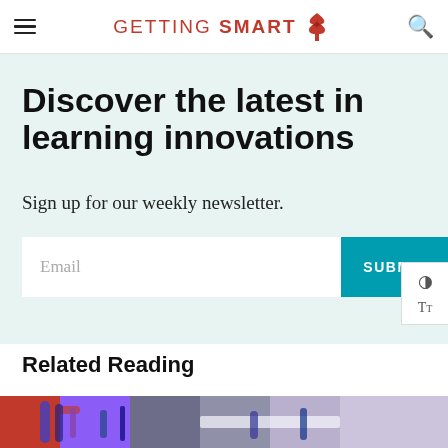Getting Smart
Discover the latest in learning innovations
Sign up for our weekly newsletter.
Email  SUBMIT
Related Reading
[Figure (photo): Colorful pens and markers on a desk surface]